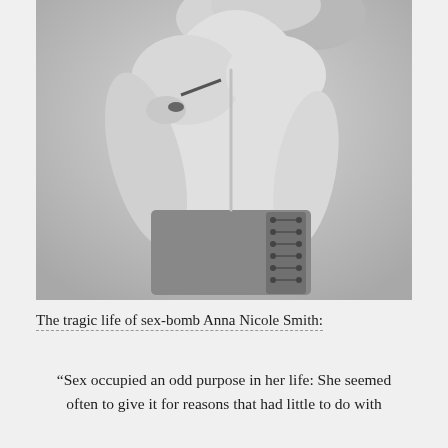[Figure (photo): Black and white photograph of Anna Nicole Smith, showing her back turned to the camera, wearing a denim corset laced up the back, with blonde curly hair, posing with hands on hips against a neutral background.]
The tragic life of sex-bomb Anna Nicole Smith:
“Sex occupied an odd purpose in her life: She seemed often to give it for reasons that had little to do with